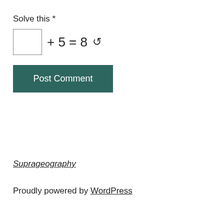Solve this *
Post Comment
Suprageography
Proudly powered by WordPress